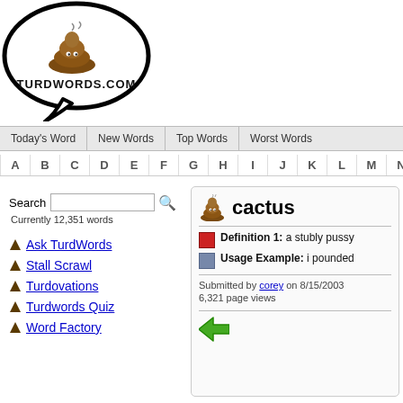[Figure (logo): Turdwords.com logo: oval speech bubble with cartoon poop illustration and text 'TURDWORDS.COM']
Today's Word | New Words | Top Words | Worst Words
A B C D E F G H I J K L M N O P
Search  Currently 12,351 words
Ask TurdWords
Stall Scrawl
Turdovations
Turdwords Quiz
Word Factory
cactus
Definition 1: a stubly pussy
Usage Example: i pounded
Submitted by corey on 8/15/2003
6,321 page views